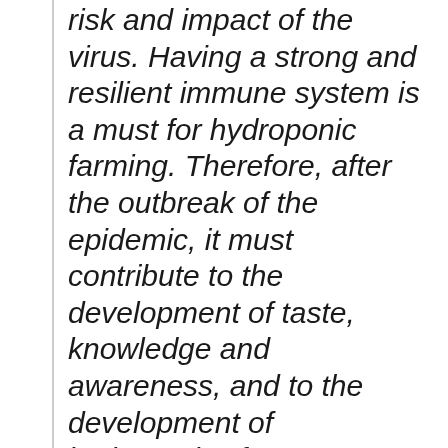risk and impact of the virus. Having a strong and resilient immune system is a must for hydroponic farming. Therefore, after the outbreak of the epidemic, it must contribute to the development of taste, knowledge and awareness, and to the development of hydroponics for a sustainable global diet.
Mentioned companies
Apply for a hold